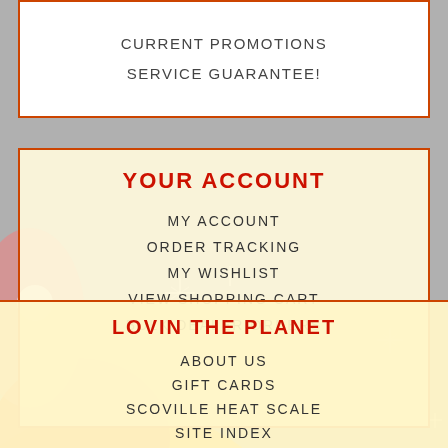CURRENT PROMOTIONS
SERVICE GUARANTEE!
YOUR ACCOUNT
MY ACCOUNT
ORDER TRACKING
MY WISHLIST
VIEW SHOPPING CART
BULK DEALER ORDERS
LOVIN THE PLANET
ABOUT US
GIFT CARDS
SCOVILLE HEAT SCALE
SITE INDEX